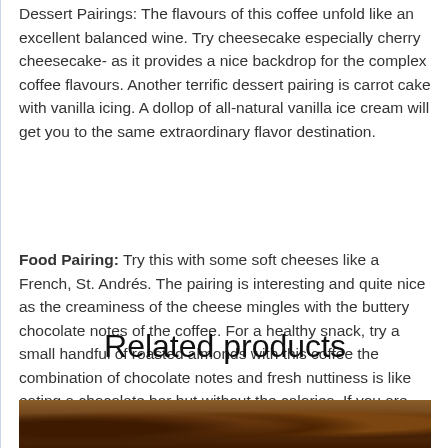Dessert Pairings: The flavours of this coffee unfold like an excellent balanced wine. Try cheesecake especially cherry cheesecake- as it provides a nice backdrop for the complex coffee flavours. Another terrific dessert pairing is carrot cake with vanilla icing. A dollop of all-natural vanilla ice cream will get you to the same extraordinary flavor destination.
Food Pairing: Try this with some soft cheeses like a French, St. Andrés. The pairing is interesting and quite nice as the creaminess of the cheese mingles with the buttery chocolate notes of the coffee. For a healthy snack, try a small handful of roasted almonds with this coffee the combination of chocolate notes and fresh nuttiness is like eating a chocolate bar but without the calories. If you are taking this coffee for breakfast, try it with mango juice it plays off nicely with the natural sweetness of this bean.
Related products
[Figure (photo): Photo strip of roasted coffee beans at the bottom of the page]